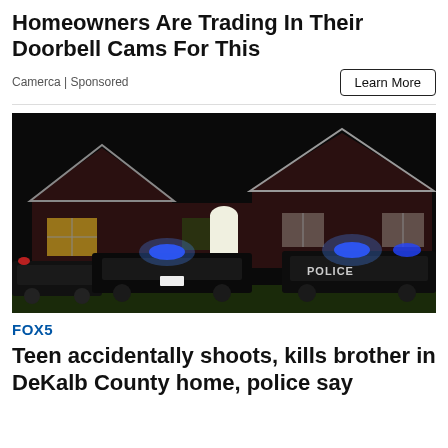Homeowners Are Trading In Their Doorbell Cams For This
Camerca | Sponsored
[Figure (photo): Nighttime photo of a brick house with police cars parked in front, blue emergency lights flashing, POLICE written on the car on the right.]
FOX5
Teen accidentally shoots, kills brother in DeKalb County home, police say